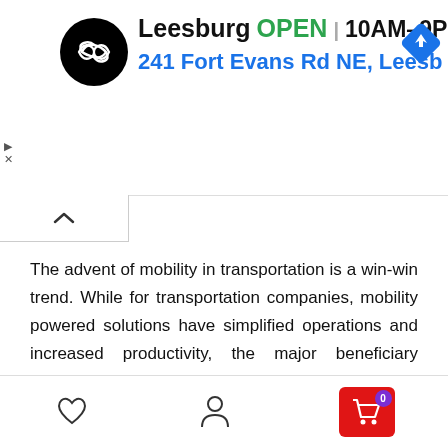[Figure (screenshot): Ad banner showing Leesburg store: circular black logo with double arrow icon, store name 'Leesburg', green 'OPEN' label, hours '10AM–9PM', blue navigation diamond icon, and blue address '241 Fort Evans Rd NE, Leesb'. Small play and X icons on the left side.]
The advent of mobility in transportation is a win-win trend. While for transportation companies, mobility powered solutions have simplified operations and increased productivity, the major beneficiary remains the consumers. Thanks to mobile technology, today consumers are experiencing a faster, convenient and seamless travel experience. But this is just a start. We believe transport companies will keep on exploring applications of mobility in transportation.
[Figure (screenshot): Bottom navigation bar with heart icon (favorites), person icon (account), and red cart icon with purple badge showing '0'.]